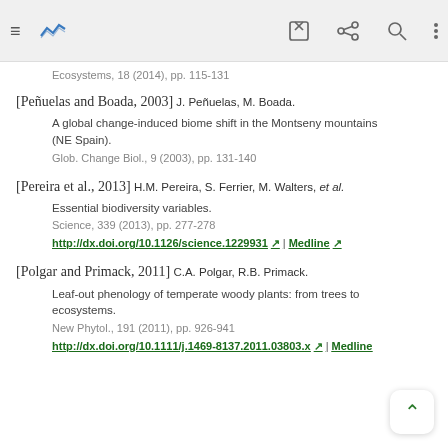toolbar with navigation icons
Ecosystems, 18 (2014), pp. 115-131
[Peñuelas and Boada, 2003] J. Peñuelas, M. Boada.
A global change-induced biome shift in the Montseny mountains (NE Spain).
Glob. Change Biol., 9 (2003), pp. 131-140
[Pereira et al., 2013] H.M. Pereira, S. Ferrier, M. Walters, et al.
Essential biodiversity variables.
Science, 339 (2013), pp. 277-278
http://dx.doi.org/10.1126/science.1229931 | Medline
[Polgar and Primack, 2011] C.A. Polgar, R.B. Primack.
Leaf-out phenology of temperate woody plants: from trees to ecosystems.
New Phytol., 191 (2011), pp. 926-941
http://dx.doi.org/10.1111/j.1469-8137.2011.03803.x | Medline